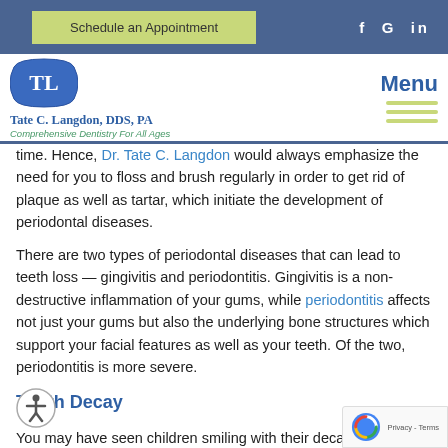Schedule an Appointment   f G in
[Figure (logo): TL logo badge for Tate C. Langdon DDS PA dental practice with blue pillow-shaped emblem]
Tate C. Langdon, DDS, PA
Comprehensive Dentistry For All Ages
Menu
time. Hence, Dr. Tate C. Langdon would always emphasize the need for you to floss and brush regularly in order to get rid of plaque as well as tartar, which initiate the development of periodontal diseases.
There are two types of periodontal diseases that can lead to teeth loss — gingivitis and periodontitis. Gingivitis is a non-destructive inflammation of your gums, while periodontitis affects not just your gums but also the underlying bone structures which support your facial features as well as your teeth. Of the two, periodontitis is more severe.
Tooth Decay
You may have seen children smiling with their decayed teeth, a sign that they more than enjoy their sugar. But while children are prone to tooth decay, that does not mean